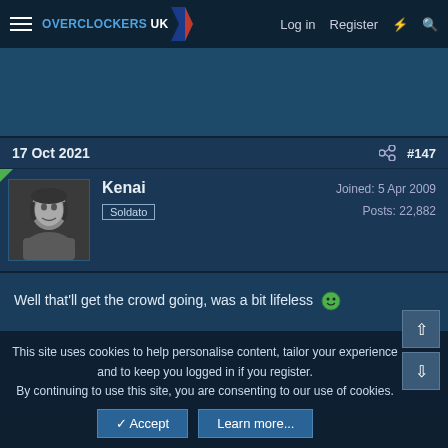Overclockers UK — Log in  Register
[Figure (other): Dark teal advertisement banner area]
17 Oct 2021  #147
Kenai
Soldato
Joined: 5 Apr 2009
Posts: 22,882
Well that'll get the crowd going, was a bit lifeless 🙂
This site uses cookies to help personalise content, tailor your experience and to keep you logged in if you register.
By continuing to use this site, you are consenting to our use of cookies.